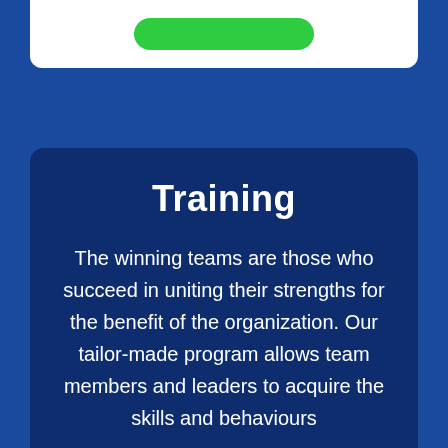[Figure (other): White card at top with a green rounded button element visible]
Training
The winning teams are those who succeed in uniting their strengths for the benefit of the organization. Our tailor-made program allows team members and leaders to acquire the skills and behaviours